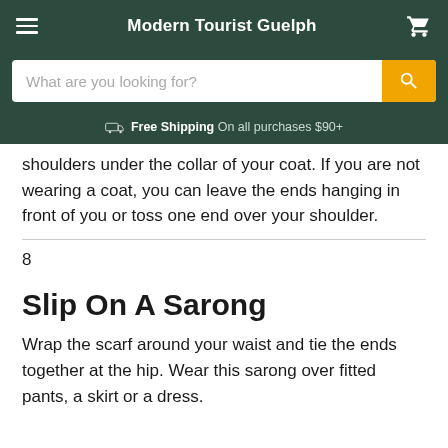Modern Tourist Guelph
What are you looking for?
Free Shipping On all purchases $90+
shoulders under the collar of your coat. If you are not wearing a coat, you can leave the ends hanging in front of you or toss one end over your shoulder.
8
Slip On A Sarong
Wrap the scarf around your waist and tie the ends together at the hip. Wear this sarong over fitted pants, a skirt or a dress.